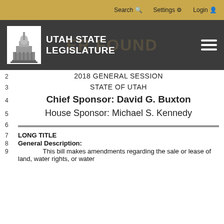Search  Settings  Login
[Figure (logo): Utah State Legislature logo with capitol building icon and text 'UTAH STATE LEGISLATURE' on dark background with hamburger menu]
2
2018 GENERAL SESSION
3
STATE OF UTAH
4
Chief Sponsor: David G. Buxton
5
House Sponsor: Michael S. Kennedy
6
7   LONG TITLE
8   General Description:
9       This bill makes amendments regarding the sale or lease of land, water rights, or water